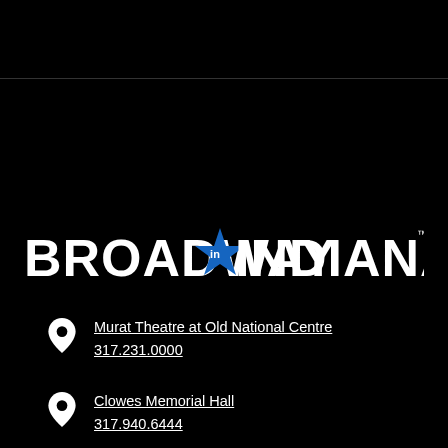[Figure (logo): Broadway in Indianapolis logo — white bold text with a blue star between the words, trademark symbol]
Murat Theatre at Old National Centre
317.231.0000
Clowes Memorial Hall
317.940.6444